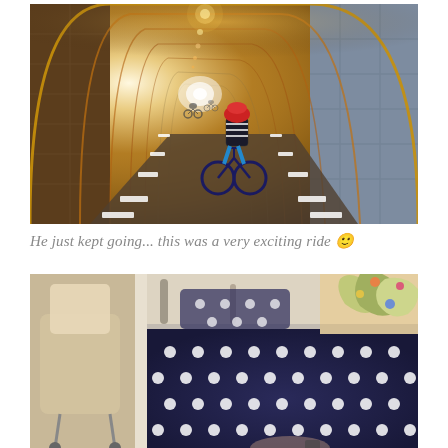[Figure (photo): Child on a bicycle riding through a long stone tunnel illuminated with warm orange lights, perspective view showing depth of tunnel]
He just kept going... this was a very exciting ride 🙂
[Figure (photo): Interior scene showing navy blue polka-dot fabric/clothing item in foreground, decorative floral/tropical fabric in background right, and a stroller/chair on the left]